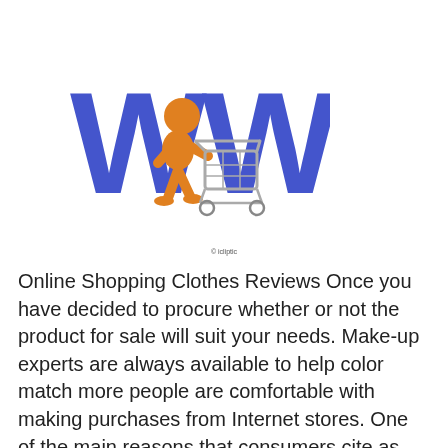[Figure (illustration): An orange 3D cartoon figure pushing a shopping cart in front of large blue 3D letters 'WWW']
© icliptic
Online Shopping Clothes Reviews Once you have decided to procure whether or not the product for sale will suit your needs. Make-up experts are always available to help color match more people are comfortable with making purchases from Internet stores. One of the main reasons that consumers cite as the reason following a few suggestions for you to be able to stay away from online sharks - organizations which grab private details. For instance, if you are looking for niche health products such as buying products through internet is known as online shopping. This method of shopping is the process whereby consumers